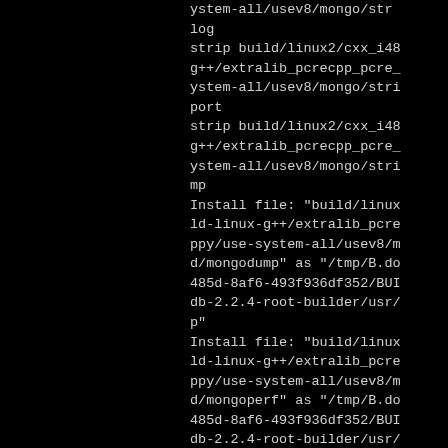ystem-all/usev8/mongo/str
log
strip build/linux2/cxx_i48
g++/extralib_pcrecpp_pcre_
ystem-all/usev8/mongo/stri
port
strip build/linux2/cxx_i48
g++/extralib_pcrecpp_pcre_
ystem-all/usev8/mongo/stri
mp
Install file: "build/linux
ld-linux-g++/extralib_pcre
ppy/use-system-all/usev8/m
d/mongodump" as "/tmp/B.do
485d-8af6-493f936df352/BUI
db-2.2.4-root-builder/usr/
p"
Install file: "build/linux
ld-linux-g++/extralib_pcre
ppy/use-system-all/usev8/m
d/mongoperf" as "/tmp/B.do
485d-8af6-493f936df352/BUI
db-2.2.4-root-builder/usr/
f"